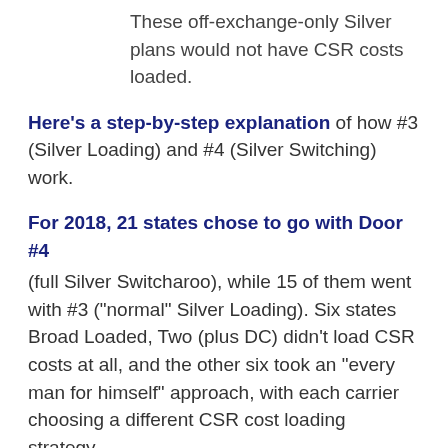These off-exchange-only Silver plans would not have CSR costs loaded.
Here's a step-by-step explanation of how #3 (Silver Loading) and #4 (Silver Switching) work.
For 2018, 21 states chose to go with Door #4
(full Silver Switcharoo), while 15 of them went with #3 ("normal" Silver Loading). Six states Broad Loaded, Two (plus DC) didn't load CSR costs at all, and the other six took an "every man for himself" approach, with each carrier choosing a different CSR cost loading strategy.
Due to the chaotic nature of the period leading up to November 1st last year, even among the